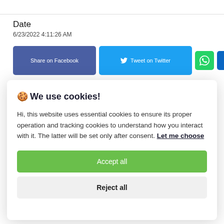Date
6/23/2022 4:11:26 AM
[Figure (screenshot): Social share buttons: Share on Facebook (dark blue), Tweet on Twitter (light blue with bird icon), WhatsApp (green with phone icon), LinkedIn (dark blue with 'in')]
🍪 We use cookies!

Hi, this website uses essential cookies to ensure its proper operation and tracking cookies to understand how you interact with it. The latter will be set only after consent. Let me choose
Accept all
Reject all